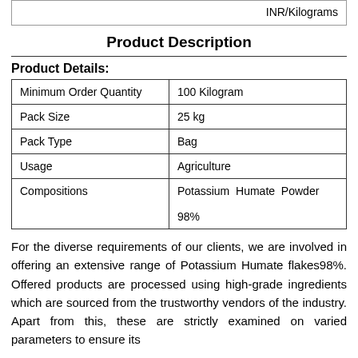|  | INR/Kilograms |
Product Description
Product Details:
| Minimum Order Quantity | 100 Kilogram |
| Pack Size | 25 kg |
| Pack Type | Bag |
| Usage | Agriculture |
| Compositions | Potassium Humate Powder 98% |
For the diverse requirements of our clients, we are involved in offering an extensive range of Potassium Humate flakes98%. Offered products are processed using high-grade ingredients which are sourced from the trustworthy vendors of the industry. Apart from this, these are strictly examined on varied parameters to ensure its